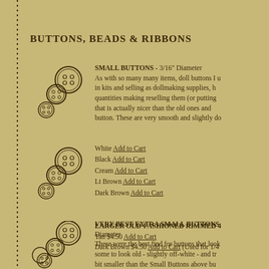BUTTONS, BEADS & RIBBONS
[Figure (illustration): Group of small round buttons with 4 holes, arranged in a cluster]
SMALL BUTTONS - 3/16" Diameter
As with so many many items, doll buttons I u in kits and selling as dollmaking supplies, h quantities making reselling them (or putting that is actually nicer than the old ones and button. These are very smooth and slightly do
White Add to Cart
Black Add to Cart
Cream Add to Cart
Lt Brown Add to Cart
Dark Brown Add to Cart
[Figure (illustration): Second group of small round buttons with 4 holes, arranged in a cluster]
[Figure (illustration): Third group of small round buttons with 4 holes, arranged in a cluster]
VERY BEST EXTRA SMALL BUTTONS
Diameter
These were the best find for buttons that look some to look old - slightly off-white - and tr bit smaller than the Small Buttons above bu dyes. Bags of 20. $9.75 White Add to Cart An
LARGER OLD-FASHIONED RIMMED 4
Tan $4.50 Add to Cart
Dark Brown $4.50 Add to Cart (Used for 1/4